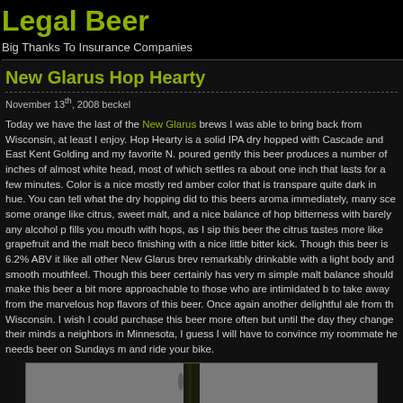Legal Beer
Big Thanks To Insurance Companies
New Glarus Hop Hearty
November 13th, 2008 beckel
Today we have the last of the New Glarus brews I was able to bring back from Wisconsin, at least I enjoy. Hop Hearty is a solid IPA dry hopped with Cascade and East Kent Golding and my favorite N. poured gently this beer produces a number of inches of almost white head, most of which settles ra about one inch that lasts for a few minutes. Color is a nice mostly red amber color that is transpare quite dark in hue. You can tell what the dry hopping did to this beers aroma immediately, many sce some orange like citrus, sweet malt, and a nice balance of hop bitterness with barely any alcohol p fills you mouth with hops, as I sip this beer the citrus tastes more like grapefruit and the malt beco finishing with a nice little bitter kick. Though this beer is 6.2% ABV it like all other New Glarus brev remarkably drinkable with a light body and smooth mouthfeel. Though this beer certainly has very m simple malt balance should make this beer a bit more approachable to those who are intimidated b to take away from the marvelous hop flavors of this beer. Once again another delightful ale from th Wisconsin. I wish I could purchase this beer more often but until the day they change their minds a neighbors in Minnesota, I guess I will have to convince my roommate he needs beer on Sundays m and ride your bike.
[Figure (photo): Photo of a New Glarus beer bottle with IPA label, showing the neck and upper body of the bottle against a grey background]